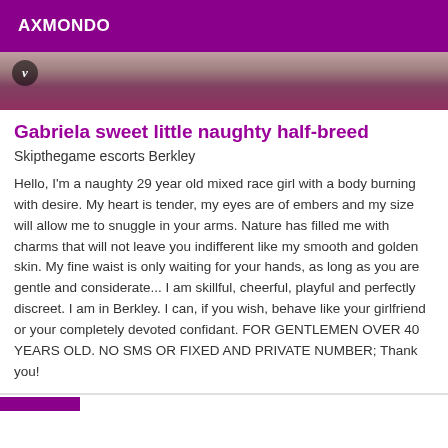AXMONDO
[Figure (photo): Partial photo of a person, mostly cropped, with a circular video/verified badge overlay in the top-left corner]
Gabriela sweet little naughty half-breed
Skipthegame escorts Berkley
Hello, I'm a naughty 29 year old mixed race girl with a body burning with desire. My heart is tender, my eyes are of embers and my size will allow me to snuggle in your arms. Nature has filled me with charms that will not leave you indifferent like my smooth and golden skin. My fine waist is only waiting for your hands, as long as you are gentle and considerate... I am skillful, cheerful, playful and perfectly discreet. I am in Berkley. I can, if you wish, behave like your girlfriend or your completely devoted confidant. FOR GENTLEMEN OVER 40 YEARS OLD. NO SMS OR FIXED AND PRIVATE NUMBER; Thank you!